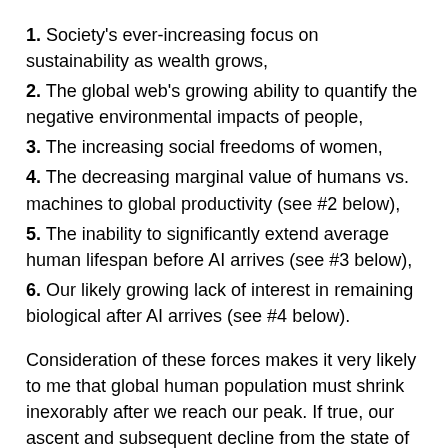1. Society's ever-increasing focus on sustainability as wealth grows,
2. The global web's growing ability to quantify the negative environmental impacts of people,
3. The increasing social freedoms of women,
4. The decreasing marginal value of humans vs. machines to global productivity (see #2 below),
5. The inability to significantly extend average human lifespan before AI arrives (see #3 below),
6. Our likely growing lack of interest in remaining biological after AI arrives (see #4 below).
Consideration of these forces makes it very likely to me that global human population must shrink inexorably after we reach our peak. If true, our ascent and subsequent decline from the state of Peak Human should arrive a full